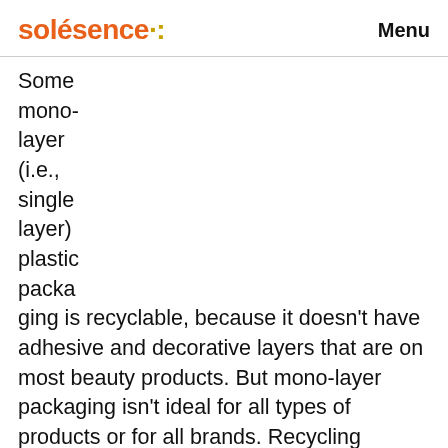solésence· Menu
Some mono-layer (i.e., single layer) plastic packaging is recyclable, because it doesn't have adhesive and decorative layers that are on most beauty products. But mono-layer packaging isn't ideal for all types of products or for all brands. Recycling guidelines differ by location, and since many products cannot be recycled in their entirety, brands need to work to restore consumer faith in a